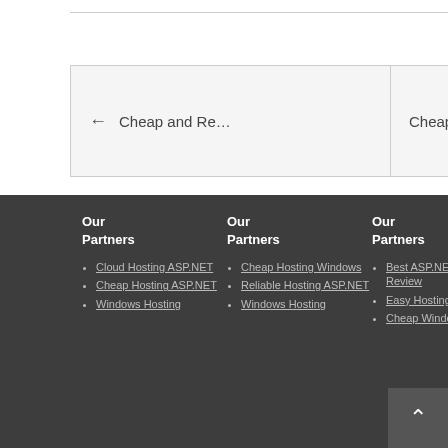← Cheap and Re...
Cheap and Relia...
Our Partners
Our Partners
Our Partners
FTC Disclosure
About Author
Cloud Hosting ASP.NET
Cheap Hosting ASP.NET
Windows Hosting
Cheap Hosting Windows
Reliable Hosting ASP.NET
Windows Hosting
Best ASP.NET Hosting Review
Easy Hosting ASP.NET
Cheap Windows
IHostAzure.com is an independent resource offering editorial and user web hosting reviews